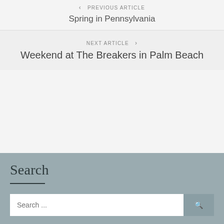< PREVIOUS ARTICLE
Spring in Pennsylvania
NEXT ARTICLE >
Weekend at The Breakers in Palm Beach
Search
Search ...